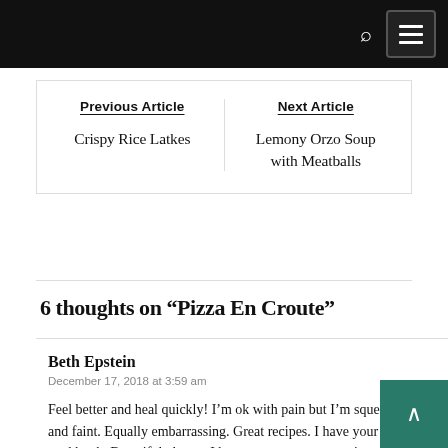Navigation bar with search and menu icons
Previous Article
Crispy Rice Latkes
Next Article
Lemony Orzo Soup with Meatballs
6 thoughts on “Pizza En Croute”
Beth Epstein
December 17, 2018 at 3:59 am
Feel better and heal quickly! I’m ok with pain but I’m squeamish and faint. Equally embarrassing. Great recipes. I have your cookbook. Beautiful photos. I hope to try out some recipes soon.